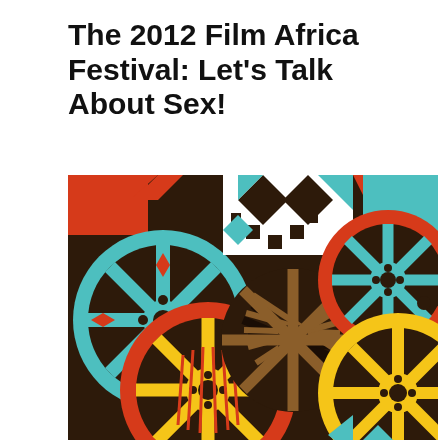The 2012 Film Africa Festival: Let's Talk About Sex!
[Figure (illustration): Colorful African-themed illustration of film reels with geometric patterns in red, teal/cyan, yellow, and dark brown. Multiple circular film reel designs with decorative African-inspired motifs and patterns fill the image background.]